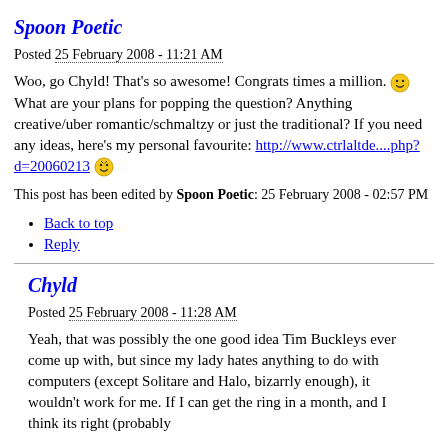Spoon Poetic
Posted 25 February 2008 - 11:21 AM
Woo, go Chyld! That's so awesome! Congrats times a million. 😊 What are your plans for popping the question? Anything creative/uber romantic/schmaltzy or just the traditional? If you need any ideas, here's my personal favourite: http://www.ctrlaltde....php?d=20060213 😄
This post has been edited by Spoon Poetic: 25 February 2008 - 02:57 PM
Back to top
Reply
Chyld
Posted 25 February 2008 - 11:28 AM
Yeah, that was possibly the one good idea Tim Buckleys ever come up with, but since my lady hates anything to do with computers (except Solitare and Halo, bizarrly enough), it wouldn't work for me. If I can get the ring in a month, and I think its right (probably